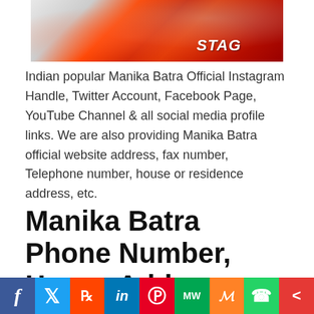[Figure (photo): Cropped photo of Manika Batra in a red STAG sports jersey with orange wristband]
Indian popular Manika Batra Official Instagram Handle, Twitter Account, Facebook Page, YouTube Channel & all social media profile links. We are also providing Manika Batra official website address, fax number, Telephone number, house or residence address, etc.
Manika Batra Phone Number, House Address, Email Id, Social Addr...
f  Twitter  Reddit  in  Pinterest  MW  Mix  WhatsApp  Share